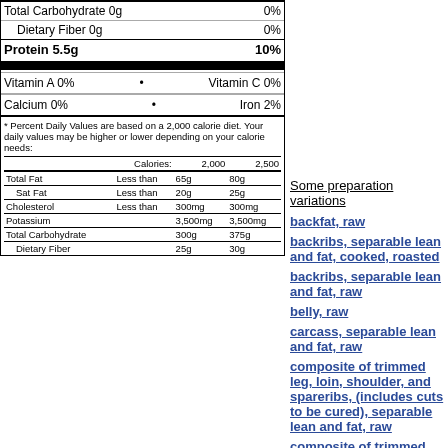| Total Carbohydrate 0g | 0% |
| Dietary Fiber 0g | 0% |
| Protein 5.5g | 10% |
|  | Calories: | 2,000 | 2,500 |
| --- | --- | --- | --- |
| Total Fat | Less than | 65g | 80g |
| Sat Fat | Less than | 20g | 25g |
| Cholesterol | Less than | 300mg | 300mg |
| Potassium |  | 3,500mg | 3,500mg |
| Total Carbohydrate |  | 300g | 375g |
| Dietary Fiber |  | 25g | 30g |
Some preparation variations
backfat, raw
backribs, separable lean and fat, cooked, roasted
backribs, separable lean and fat, raw
belly, raw
carcass, separable lean and fat, raw
composite of trimmed leg, loin, shoulder, and spareribs, (includes cuts to be cured), separable lean and fat, raw
composite of trimmed retail cuts (leg, loin, and shoulder), separable lean only, cooked
composite of trimmed retail cuts (leg, loin, shoulder), separable lean only,